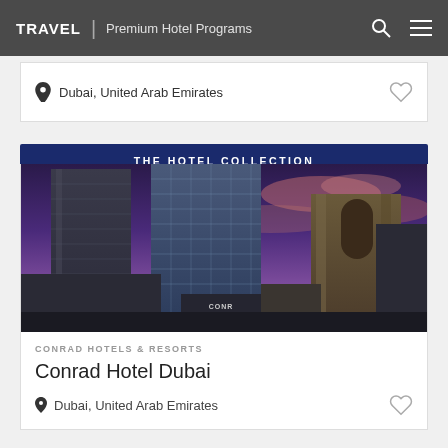TRAVEL | Premium Hotel Programs
Dubai, United Arab Emirates
THE HOTEL COLLECTION
[Figure (photo): Exterior photograph of Conrad Hotel Dubai skyscrapers at dusk with purple and pink clouds]
CONRAD HOTELS & RESORTS
Conrad Hotel Dubai
Dubai, United Arab Emirates